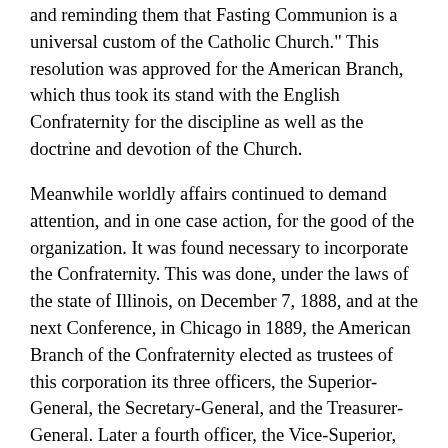and reminding them that Fasting Communion is a universal custom of the Catholic Church." This resolution was approved for the American Branch, which thus took its stand with the English Confraternity for the discipline as well as the doctrine and devotion of the Church.
Meanwhile worldly affairs continued to demand attention, and in one case action, for the good of the organization. It was found necessary to incorporate the Confraternity. This was done, under the laws of the state of Illinois, on December 7, 1888, and at the next Conference, in Chicago in 1889, the American Branch of the Confraternity elected as trustees of this corporation its three officers, the Superior-General, the Secretary-General, and the Treasurer-General. Later a fourth officer, the Vice-Superior, was added, to meet a legal requirement that one trustee must live in Illinois.
The next year the Council and the Conference met again at the Ascension in Chicago. In the election of officers Father Larrabee nominated as Superior-General the Rt. Rev. Charles C. Grafton, who on April 25, 1889, had been consecrated Bishop of Fond du Lac. It was more than twenty years since he had admitted the first Associates to the Confraternity in